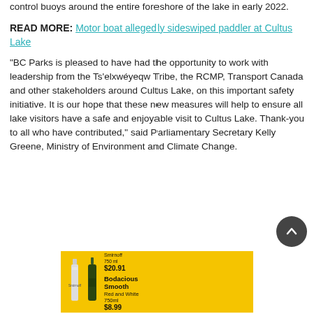control buoys around the entire foreshore of the lake in early 2022.
READ MORE: Motor boat allegedly sideswiped paddler at Cultus Lake
“BC Parks is pleased to have had the opportunity to work with leadership from the Ts’elxwéyeqw Tribe, the RCMP, Transport Canada and other stakeholders around Cultus Lake, on this important safety initiative. It is our hope that these new measures will help to ensure all lake visitors have a safe and enjoyable visit to Cultus Lake. Thank-you to all who have contributed,” said Parliamentary Secretary Kelly Greene, Ministry of Environment and Climate Change.
[Figure (other): Advertisement banner for liquor products featuring Smirnoff 750ml for $20.91 and Bodacious Smooth Red and White 750ml for $8.99, yellow background.]